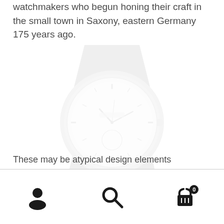watchmakers who begun honing their craft in the small town in Saxony, eastern Germany 175 years ago.
[Figure (photo): A faded/washed-out photograph of a minimalist watch face with leather strap, very light grey tones against white background]
These may be atypical design elements
Navigation bar with user icon, search icon, and shopping cart icon with badge showing 0